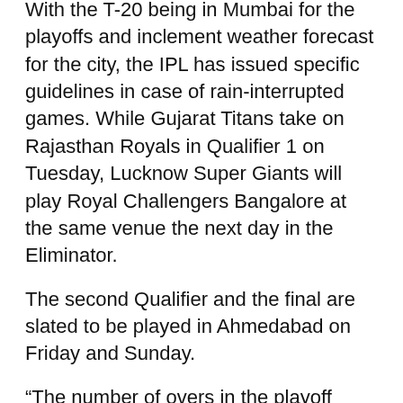With the T-20 being in Mumbai for the playoffs and inclement weather forecast for the city, the IPL has issued specific guidelines in case of rain-interrupted games. While Gujarat Titans take on Rajasthan Royals in Qualifier 1 on Tuesday, Lucknow Super Giants will play Royal Challengers Bangalore at the same venue the next day in the Eliminator.
The second Qualifier and the final are slated to be played in Ahmedabad on Friday and Sunday.
“The number of overs in the playoff match may, if necessary, be reduced so that each side has the opportunity to bat for five overs,” the IPL guidelines read.
“For the Eliminator and each Qualifier playoff matches, if it is not possible to schedule a five-over match to complete by the end of the extra time on an original day, the teams will, if conditions permit, play a Super Over to determine